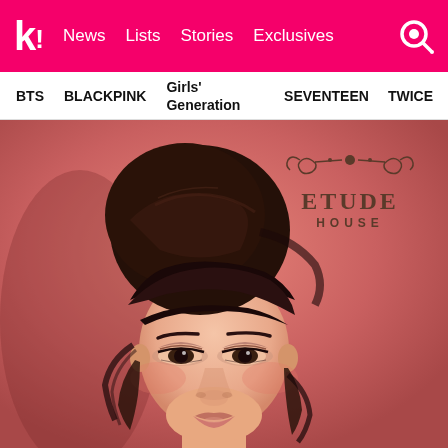k! News  Lists  Stories  Exclusives
BTS
BLACKPINK
Girls' Generation
SEVENTEEN
TWICE
[Figure (photo): Young East Asian woman with dark hair styled up in a bun with bangs, wearing eye makeup, on a pinkish-rose background. Upper right corner has the Etude House logo with decorative scrollwork and text 'ETUDE HOUSE'.]